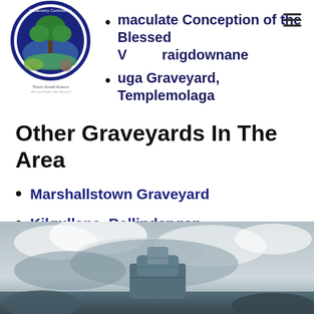Kildamorry Community Development Ltd
The Immaculate Conception of the Blessed Virgin, Craigdownane
Lough Gur Graveyard, Templemolaga
Other Graveyards In The Area
Marshallstown Graveyard
Kilgullane, Ballindangan
Templeroan, Shanballymore
Darragh, Glenroe
[Figure (photo): Outdoor photo showing a cloudy sky with a stone monument or rock formation in the foreground]